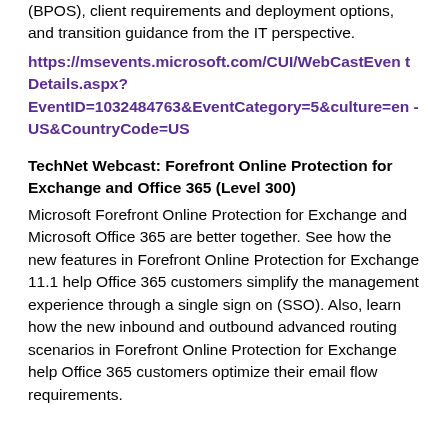(BPOS), client requirements and deployment options, and transition guidance from the IT perspective.
https://msevents.microsoft.com/CUI/WebCastEventDetails.aspx?EventID=1032484763&EventCategory=5&culture=en-US&CountryCode=US
TechNet Webcast: Forefront Online Protection for Exchange and Office 365 (Level 300)
Microsoft Forefront Online Protection for Exchange and Microsoft Office 365 are better together. See how the new features in Forefront Online Protection for Exchange 11.1 help Office 365 customers simplify the management experience through a single sign on (SSO). Also, learn how the new inbound and outbound advanced routing scenarios in Forefront Online Protection for Exchange help Office 365 customers optimize their email flow requirements.